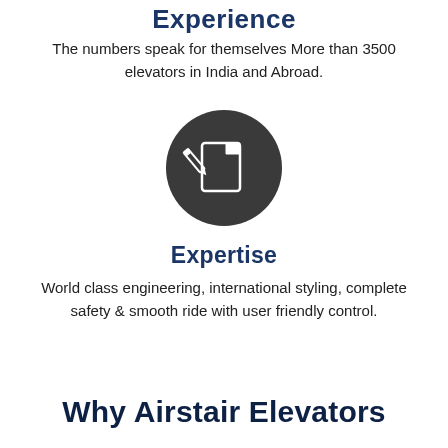Experience
The numbers speak for themselves More than 3500 elevators in India and Abroad.
[Figure (illustration): Dark gray circle icon containing a white document/notepad with a pencil overlay]
Expertise
World class engineering, international styling, complete safety & smooth ride with user friendly control.
Why Airstair Elevators